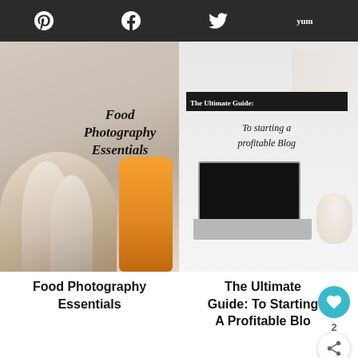[Figure (screenshot): Social sharing bar with Pinterest, Facebook, Twitter, and Yummly icons on dark background]
[Figure (photo): Book cover: Food Photography Essentials - cupcakes and honey jar]
[Figure (photo): Book cover: The Ultimate Guide: To starting a profitable Blog - laptop and coffee cup]
Food Photography Essentials
The Ultimate Guide: To Starting A Profitable Blog